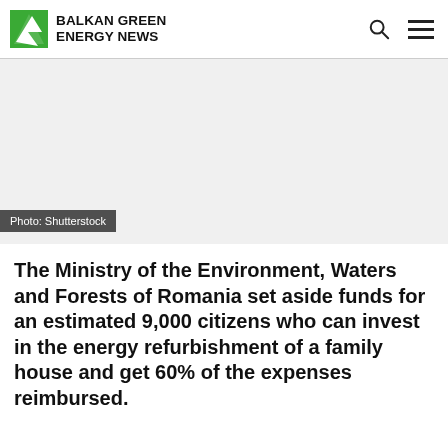BALKAN GREEN ENERGY NEWS
[Figure (photo): White/blank photo placeholder area with 'Photo: Shutterstock' caption overlay at bottom left]
Photo: Shutterstock
The Ministry of the Environment, Waters and Forests of Romania set aside funds for an estimated 9,000 citizens who can invest in the energy refurbishment of a family house and get 60% of the expenses reimbursed.